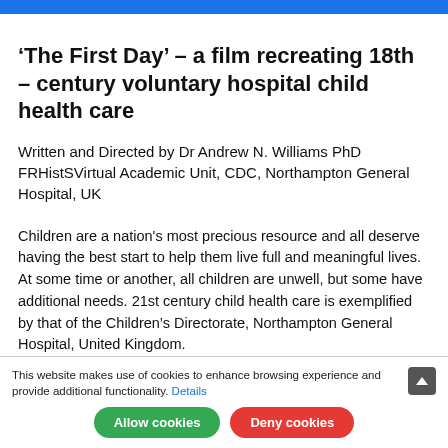‘The First Day’ – a film recreating 18th – century voluntary hospital child health care
Written and Directed by Dr Andrew N. Williams PhD FRHistS Virtual Academic Unit, CDC, Northampton General Hospital, UK
Children are a nation's most precious resource and all deserve having the best start to help them live full and meaningful lives. At some time or another, all children are unwell, but some have additional needs. 21st century child health care is exemplified by that of the Children’s Directorate, Northampton General Hospital, United Kingdom.
This website makes use of cookies to enhance browsing experience and provide additional functionality. Details
Allow cookies
Deny cookies